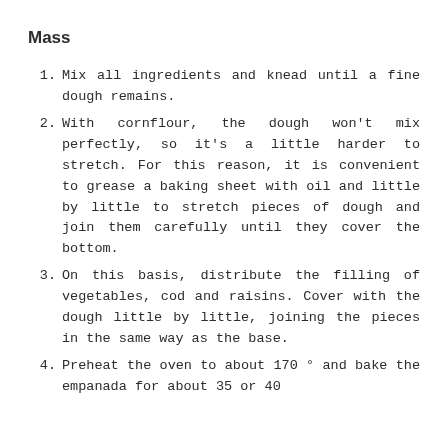Mass
Mix all ingredients and knead until a fine dough remains.
With cornflour, the dough won't mix perfectly, so it's a little harder to stretch. For this reason, it is convenient to grease a baking sheet with oil and little by little to stretch pieces of dough and join them carefully until they cover the bottom.
On this basis, distribute the filling of vegetables, cod and raisins. Cover with the dough little by little, joining the pieces in the same way as the base.
Preheat the oven to about 170 ° and bake the empanada for about 35 or 40